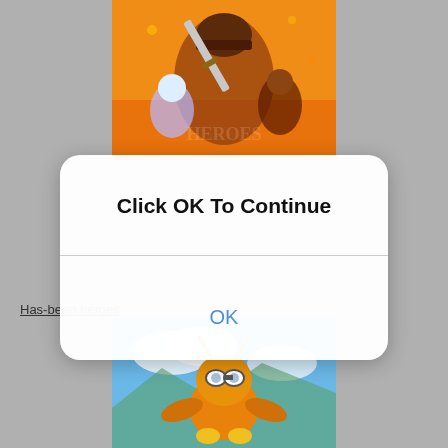[Figure (illustration): Video game artwork showing fantasy characters including a large warrior with a sword, a white-haired character, and others against an orange fiery background - Has-been Heroes game art]
Click OK To Continue
OK
Has-been heroes
[Figure (illustration): Video game artwork showing an anthropomorphic character with goggles flying or jumping against a blue sky background - Has-been Heroes game art]